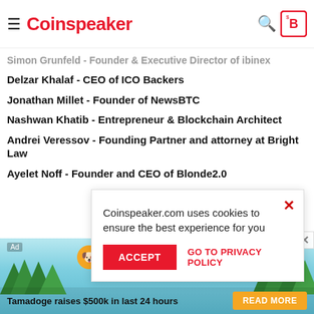Coinspeaker
Simon Grunfeld - Founder & Executive Director of ibinex
Delzar Khalaf - CEO of ICO Backers
Jonathan Millet - Founder of NewsBTC
Nashwan Khatib - Entrepreneur & Blockchain Architect
Andrei Veressov - Founding Partner and attorney at Bright Law
Ayelet Noff - Founder and CEO of Blonde2.0
Coinspeaker.com uses cookies to ensure the best experience for you
DISCLOSURE: This p... intelligence. This ... constitute any so... investment. Any i... risk and at your f...
[Figure (screenshot): Tamadoge advertisement banner at the bottom with logo, tagline 'Tamadoge raises $500k in last 24 hours' and READ MORE button]
Tamadoge -